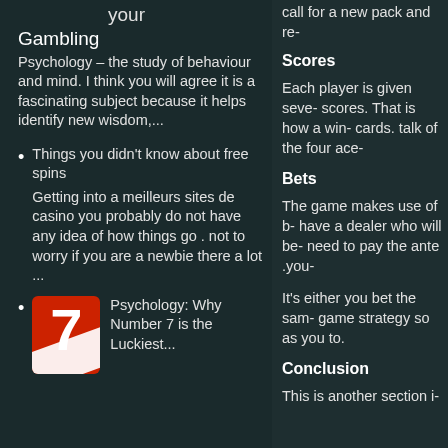improve your
Gambling
Psychology – the study of behaviour and mind. I think you will agree it is a fascinating subject because it helps identify new wisdom,...
Things you didn't know about free spins
Getting into a meilleurs sites de casino you probably do not have any idea of how things go . not to worry if you are a newbie there a lot ...
Psychology: Why Number 7 is the Luckiest...
call for a new pack and re-
Scores
Each player is given seve- scores. That is how a win- cards. talk of the four ace-
Bets
The game makes use of b- have a dealer who will be- need to pay the ante .you-
It's either you bet the sam- game strategy so as you to.
Conclusion
This is another section i-